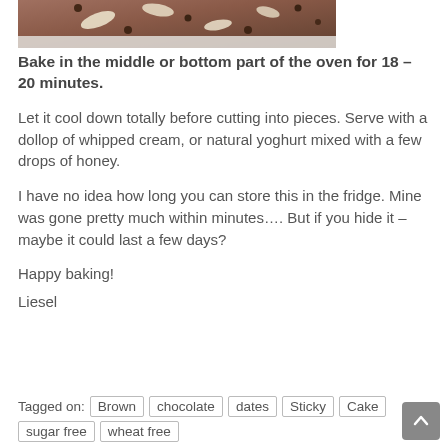[Figure (photo): Cropped top portion of a baking pan with chocolate brownie topped with almond slices and chocolate chips, viewed from an angle]
Bake in the middle or bottom part of the oven for 18 – 20 minutes.
Let it cool down totally before cutting into pieces. Serve with a dollop of whipped cream, or natural yoghurt mixed with a few drops of honey.
I have no idea how long you can store this in the fridge. Mine was gone pretty much within minutes…. But if you hide it – maybe it could last a few days?
Happy baking!
Liesel
Tagged on: Brown  chocolate  dates  Sticky Cake  sugar free  wheat free